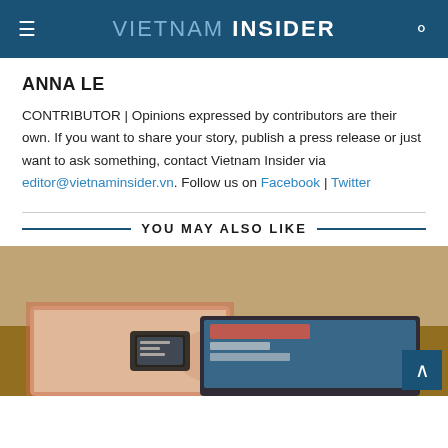VIETNAM INSIDER
ANNA LE
CONTRIBUTOR | Opinions expressed by contributors are their own. If you want to share your story, publish a press release or just want to ask something, contact Vietnam Insider via editor@vietnaminsider.vn. Follow us on Facebook | Twitter
YOU MAY ALSO LIKE
[Figure (photo): Person wearing an Apple Watch using a tablet device on a wooden table]